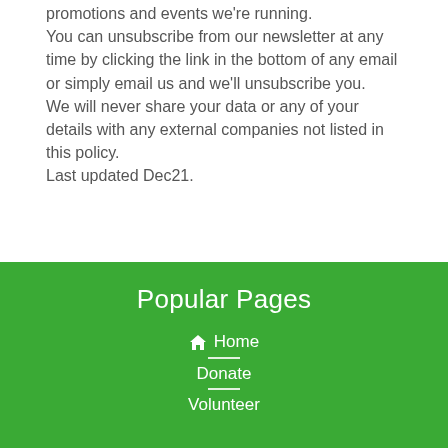promotions and events we're running.
You can unsubscribe from our newsletter at any time by clicking the link in the bottom of any email or simply email us and we'll unsubscribe you.
We will never share your data or any of your details with any external companies not listed in this policy.
Last updated Dec21.
Popular Pages
Home
Donate
Volunteer